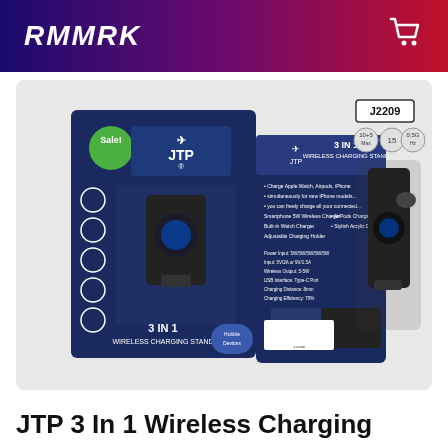RMMRK
[Figure (photo): Product listing image showing JTP 3-in-1 Wireless Charging Stand (model J2209) — front and back of retail box with the physical device. Box shows Sale! badge, JTP logo, '3 IN 1 WIRELESS CHARGING STAND' text, product icons, barcode, and various spec icons. Right side shows the actual charging stand device.]
JTP 3 In 1 Wireless Charging